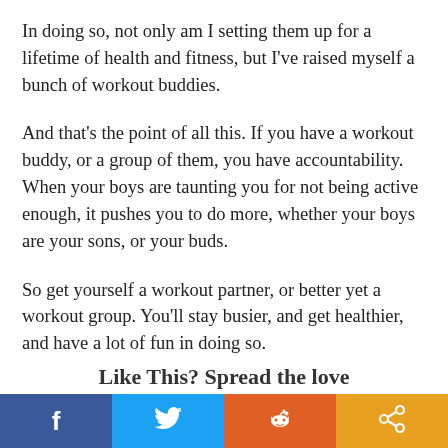In doing so, not only am I setting them up for a lifetime of health and fitness, but I've raised myself a bunch of workout buddies.
And that's the point of all this. If you have a workout buddy, or a group of them, you have accountability. When your boys are taunting you for not being active enough, it pushes you to do more, whether your boys are your sons, or your buds.
So get yourself a workout partner, or better yet a workout group. You'll stay busier, and get healthier, and have a lot of fun in doing so.
Like This? Spread the love
[Figure (other): Social sharing bar with four buttons: Facebook (blue), Twitter (light blue), Reddit (orange), Share (amber/orange)]